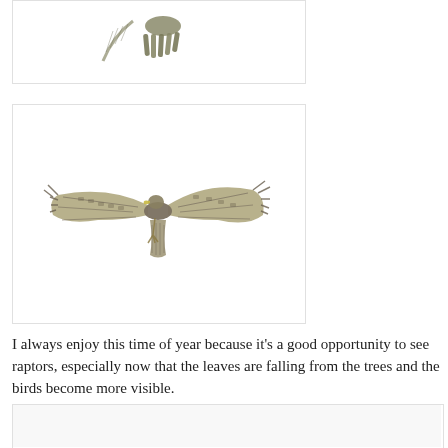[Figure (photo): Partial view of a raptor bird in flight from above, showing wing and tail feathers, cropped at top of page]
[Figure (photo): A hawk or raptor bird in flight with wings spread wide, viewed from below/side against white background]
I always enjoy this time of year because it's a good opportunity to see raptors, especially now that the leaves are falling from the trees and the birds become more visible.
[Figure (photo): Partial view of another bird or scene, cropped at the bottom of the page]